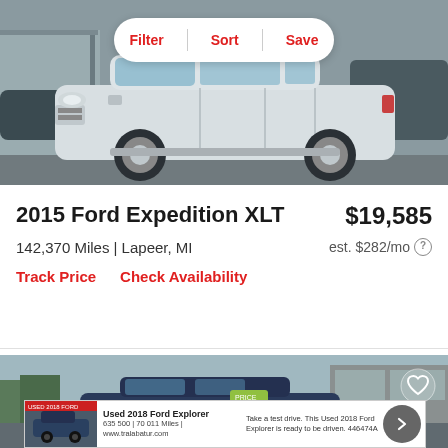[Figure (photo): Silver 2015 Ford Expedition XLT SUV parked at a dealership lot, side profile view]
Filter | Sort | Save
2015 Ford Expedition XLT
$19,585
142,370 Miles | Lapeer, MI
est. $282/mo
Track Price    Check Availability
[Figure (photo): Dark blue Ford Explorer SUV at a dealership outdoor lot]
[Figure (screenshot): Advertisement banner for Used 2018 Ford Explorer with car image, text and arrow button]